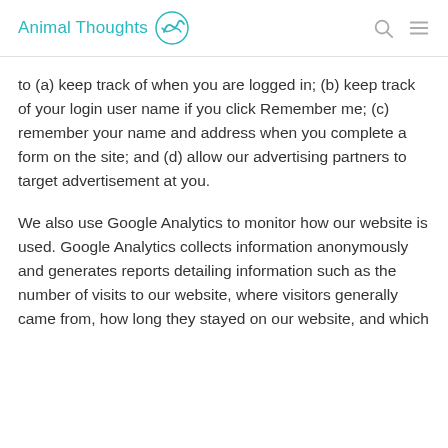Animal Thoughts
to (a) keep track of when you are logged in; (b) keep track of your login user name if you click Remember me; (c) remember your name and address when you complete a form on the site; and (d) allow our advertising partners to target advertisement at you.
We also use Google Analytics to monitor how our website is used. Google Analytics collects information anonymously and generates reports detailing information such as the number of visits to our website, where visitors generally came from, how long they stayed on our website, and which